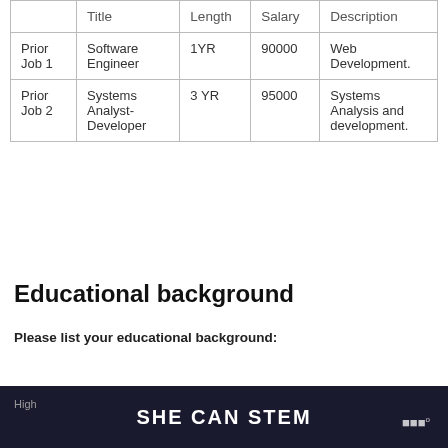|  | Title | Length | Salary | Description |
| --- | --- | --- | --- | --- |
| Prior Job 1 | Software Engineer | 1YR | 90000 | Web Development. |
| Prior Job 2 | Systems Analyst-Developer | 3 YR | 95000 | Systems Analysis and development. |
Educational background
Please list your educational background:
SHE CAN STEM